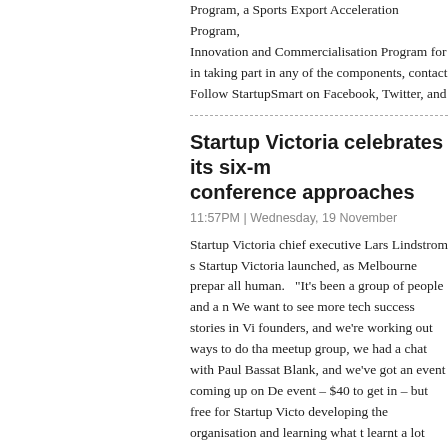Program, a Sports Export Acceleration Program, Innovation and Commercialisation Program for in taking part in any of the components, contact Follow StartupSmart on Facebook, Twitter, and
Startup Victoria celebrates its six-m conference approaches
11:57PM | Wednesday, 19 November
Startup Victoria chief executive Lars Lindstrom s Startup Victoria launched, as Melbourne prepar all human. "It's been a group of people and a n We want to see more tech success stories in Vi founders, and we're working out ways to do tha meetup group, we had a chat with Paul Bassat Blank, and we've got an event coming up on De event – $40 to get in – but free for Startup Victo developing the organisation and learning what t learnt a lot about what our members want. One Lindstrom says. "That's what we're doing with . That's just off the Lean Startup Melbourne list." take place on December 9, from 8am to 5pm, a conference is being organised by Stripe founde name international speakers include Y-Combina early Skype investor Morten Lund, early Pintere and Pase founder Tikhon Bernstam. "Y Combi before in Australia," Lindstrom says. "So Star